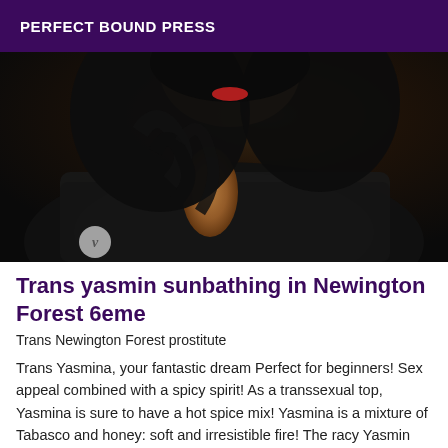PERFECT BOUND PRESS
[Figure (photo): Close-up photo of a person with dark curly hair wearing a dark textured jacket, face partially visible showing red lips, with a small 'v' logo watermark in the bottom left corner.]
Trans yasmin sunbathing in Newington Forest 6eme
Trans Newington Forest prostitute
Trans Yasmina, your fantastic dream Perfect for beginners! Sex appeal combined with a spicy spirit! As a transsexual top, Yasmina is sure to have a hot spice mix! Yasmina is a mixture of Tabasco and honey: soft and irresistible fire! The racy Yasmin USA is what we call a